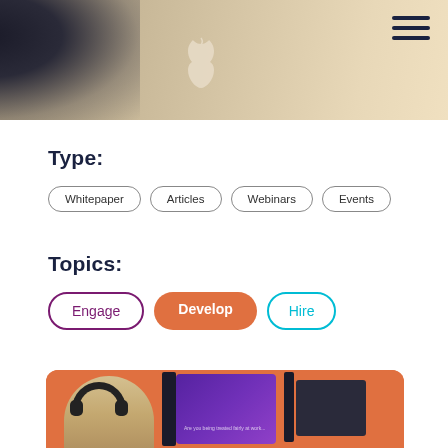[Figure (photo): Top partial photo showing an Apple MacBook laptop lid with Apple logo, dark background on the left side, beige/tan desk surface]
[Figure (other): Hamburger menu icon (three horizontal lines) in dark navy color, top right corner]
Type:
Whitepaper
Articles
Webinars
Events
Topics:
Engage
Develop
Hire
[Figure (photo): Bottom photo showing a blonde woman wearing headphones viewed from behind, with a screen showing a purple background on the right, orange/salmon rounded card border at top]